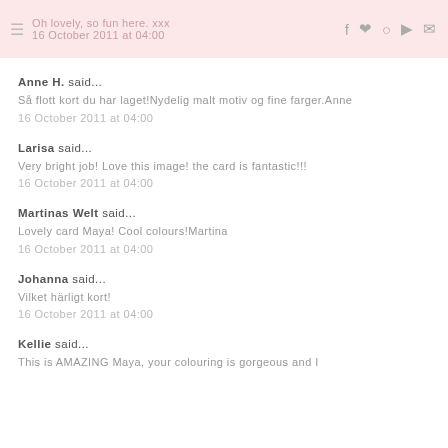Oh lovely, so fun here. xxx
16 October 2011 at 04:00
Anne H. said...
Så flott kort du har laget!Nydelig malt motiv og fine farger.Anne
16 October 2011 at 04:00
Larisa said...
Very bright job! Love this image! the card is fantastic!!!
16 October 2011 at 04:00
Martinas Welt said...
Lovely card Maya! Cool colours!Martina
16 October 2011 at 04:00
Johanna said...
Vilket härligt kort!
16 October 2011 at 04:00
Kellie said...
This is AMAZING Maya, your colouring is gorgeous and I